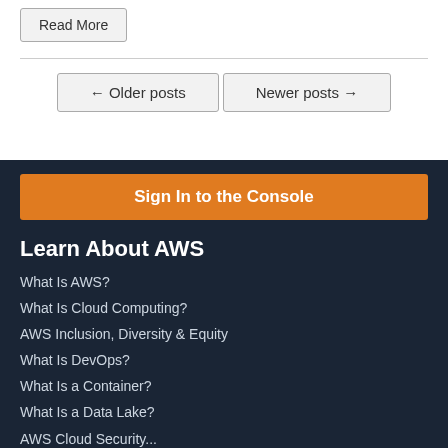Read More
← Older posts
Newer posts →
Sign In to the Console
Learn About AWS
What Is AWS?
What Is Cloud Computing?
AWS Inclusion, Diversity & Equity
What Is DevOps?
What Is a Container?
What Is a Data Lake?
AWS Cloud Security